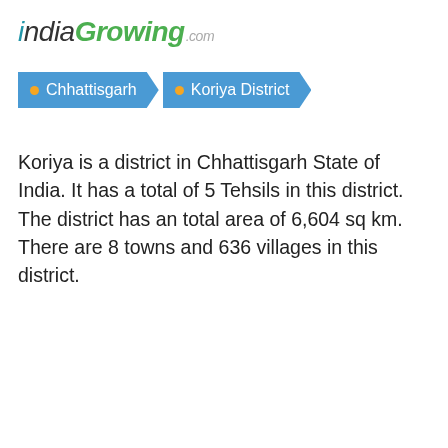indiaGrowing.com
Chhattisgarh > Koriya District
Koriya is a district in Chhattisgarh State of India. It has a total of 5 Tehsils in this district. The district has an total area of 6,604 sq km. There are 8 towns and 636 villages in this district.